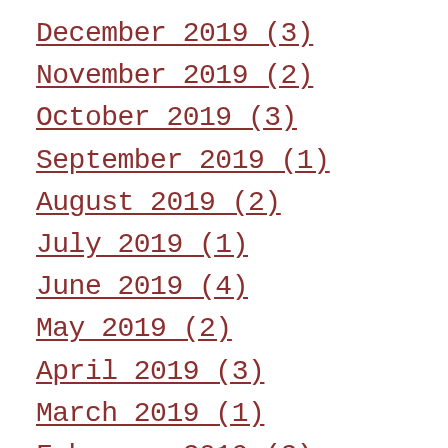December 2019 (3)
November 2019 (2)
October 2019 (3)
September 2019 (1)
August 2019 (2)
July 2019 (1)
June 2019 (4)
May 2019 (2)
April 2019 (3)
March 2019 (1)
February 2019 (2)
January 2019 (4)
December 2018 (2)